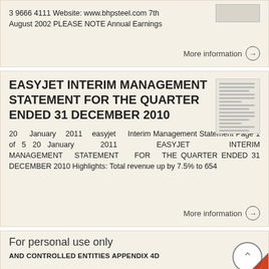3 9666 4111 Website: www.bhpsteel.com 7th August 2002 PLEASE NOTE Annual Earnings
More information →
EASYJET INTERIM MANAGEMENT STATEMENT FOR THE QUARTER ENDED 31 DECEMBER 2010
20 January 2011 easyjet Interim Management Statement Page 1 of 5 20 January 2011 EASYJET INTERIM MANAGEMENT STATEMENT FOR THE QUARTER ENDED 31 DECEMBER 2010 Highlights: Total revenue up by 7.5% to 654
More information →
For personal use only
AND CONTROLLED ENTITIES APPENDIX 4D